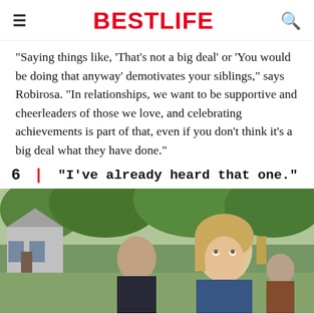BESTLIFE
"Saying things like, 'That's not a big deal' or 'You would be doing that anyway' demotivates your siblings," says Robirosa. "In relationships, we want to be supportive and cheerleaders of those we love, and celebrating achievements is part of that, even if you don't think it's a big deal what they have done."
6 | "I've already heard that one."
[Figure (photo): A young blonde woman looks upward with an annoyed or bored expression, while a young man stands behind her looking concerned or talking, photographed outdoors in front of a house with green trees in the background.]